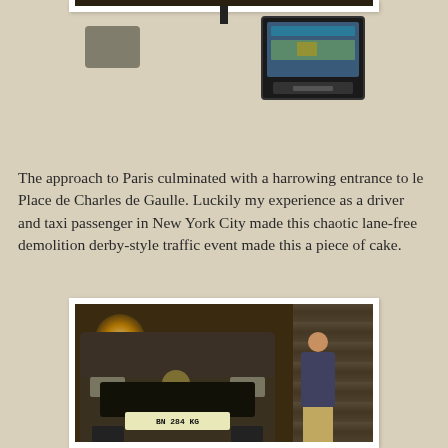[Figure (photo): View from inside a car on a Paris street, showing the rear of a Renault vehicle in traffic, with a GPS navigation device (TomTom) mounted on the dashboard in the foreground right.]
The approach to Paris culminated with a harrowing entrance to le Place de Charles de Gaulle. Luckily my experience as a driver and taxi passenger in New York City made this chaotic lane-free demolition derby-style traffic event made this a piece of cake.
[Figure (photo): A man standing next to a dark-colored Peugeot SUV (license plate BN 284 KG) in a dim parking garage with warm overhead lighting and metal door/shutter in background.]